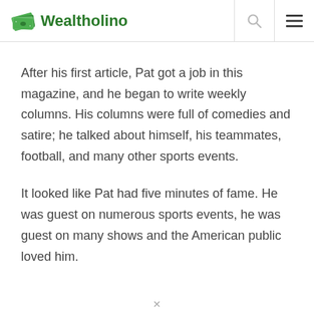Wealtholino
After his first article, Pat got a job in this magazine, and he began to write weekly columns. His columns were full of comedies and satire; he talked about himself, his teammates, football, and many other sports events.
It looked like Pat had five minutes of fame. He was guest on numerous sports events, he was guest on many shows and the American public loved him.